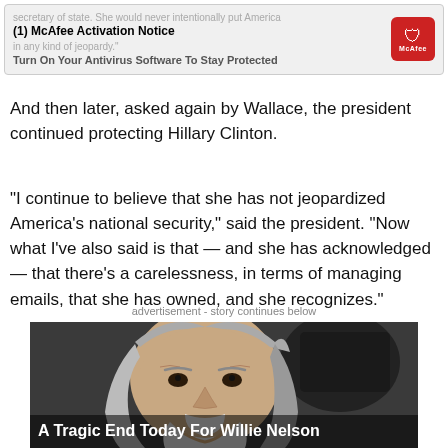[Figure (screenshot): McAfee Activation Notice ad banner with logo and text 'Turn On Your Antivirus Software To Stay Protected']
And then later, asked again by Wallace, the president continued protecting Hillary Clinton.
“I continue to believe that she has not jeopardized America’s national security,” said the president. “Now what I’ve also said is that — and she has acknowledged — that there’s a carelessness, in terms of managing emails, that she has owned, and she recognizes.”
advertisement - story continues below
[Figure (photo): Elderly man with long gray hair and white beard looking at camera, with camera equipment in background. Caption: A Tragic End Today For Willie Nelson]